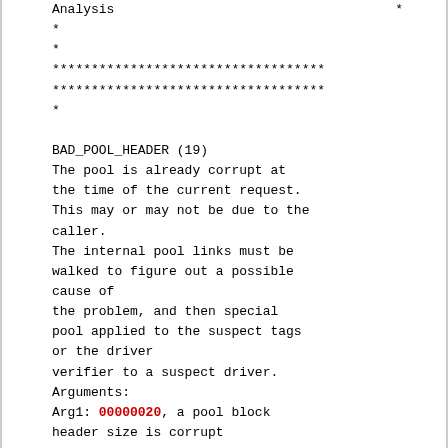Analysis                                    *
*
*
***********************************
***********************************
*

BAD_POOL_HEADER (19)
The pool is already corrupt at
the time of the current request.
This may or may not be due to the
caller.
The internal pool links must be
walked to figure out a possible
cause of
the problem, and then special
pool applied to the suspect tags
or the driver
verifier to a suspect driver.
Arguments:
Arg1: 00000020, a pool block
header size is corrupt